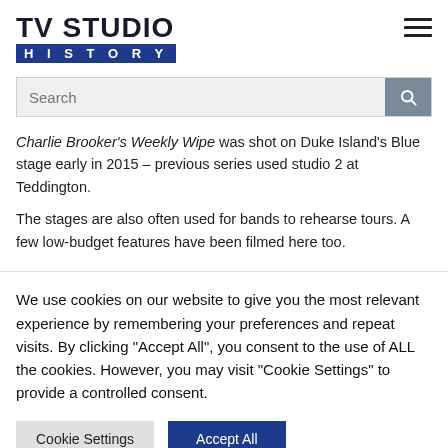TV STUDIO HISTORY
Charlie Brooker's Weekly Wipe was shot on Duke Island's Blue stage early in 2015 – previous series used studio 2 at Teddington.
The stages are also often used for bands to rehearse tours. A few low-budget features have been filmed here too.
We use cookies on our website to give you the most relevant experience by remembering your preferences and repeat visits. By clicking "Accept All", you consent to the use of ALL the cookies. However, you may visit "Cookie Settings" to provide a controlled consent.